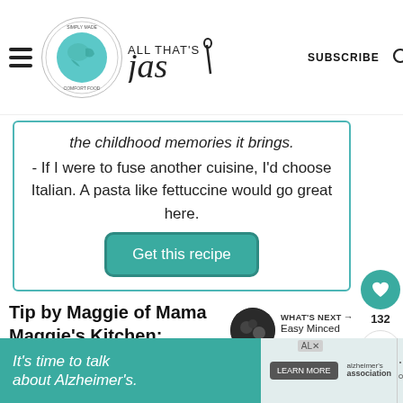ALL THAT'S jas — SUBSCRIBE
the childhood memories it brings.
- If I were to fuse another cuisine, I'd choose Italian. A pasta like fettuccine would go great here.
Get this recipe
Tip by Maggie of Mama Maggie's Kitchen:
WHAT'S NEXT → Easy Minced Meat and...
It's time to talk about Alzheimer's. LEARN MORE